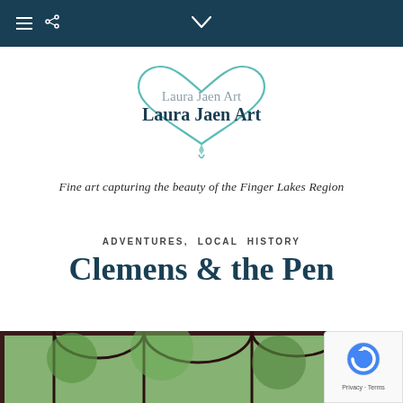Navigation bar with hamburger menu, share icon, and chevron
[Figure (logo): Laura Jaen Art logo with teal heart outline and script text 'Laura Jaen Art' written twice]
Fine art capturing the beauty of the Finger Lakes Region
ADVENTURES, LOCAL HISTORY
Clemens & the Pen
[Figure (photo): Partial photo showing trees and a lattice/pergola structure viewed through a dark-framed window or opening, green summer foliage visible]